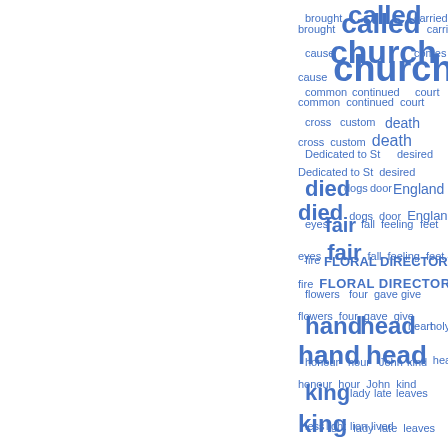[Figure (other): Word cloud / tag cloud showing frequency-weighted words in blue. Larger words appear more frequently. Words include: brought, called, carried, cause, church, comes, common, continued, court, cross, custom, death, Dedicated to St, desired, died, dogs, door, England, eyes, fair, fall, feeling, feet, fire, FLORAL DIRECTORY, flowers, four, gave, give, hand, head, heart, holy, honour, hour, John, kind, king, lady, late, leaves, less, light, lion, lived, London, look, lord, manner, March, master, means, month, morning, nature, never, night, observed, passed]